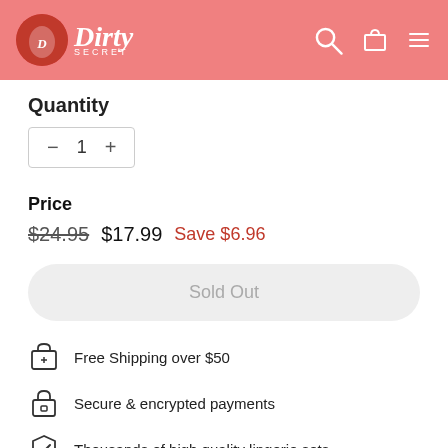[Figure (logo): Dirty Secret lingerie brand logo with red circle and script text on salmon pink header bar with search, cart, and menu icons]
Quantity
- 1 +
Price
$24.95  $17.99  Save $6.96
Sold Out
Free Shipping over $50
Secure & encrypted payments
Thousands of high quality lingerie sets